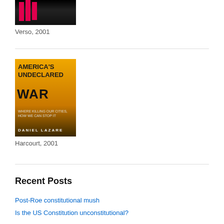[Figure (photo): Top portion of a book cover with dark/black background and pink/red vertical bars, author name visible at bottom]
Verso, 2001
[Figure (photo): Book cover: America's Undeclared War by Daniel Lazare, yellow/orange and dark background with city skyline]
Harcourt, 2001
Recent Posts
Post-Roe constitutional mush
Is the US Constitution unconstitutional?